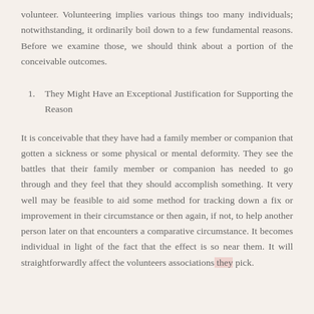volunteer. Volunteering implies various things too many individuals; notwithstanding, it ordinarily boil down to a few fundamental reasons. Before we examine those, we should think about a portion of the conceivable outcomes.
They Might Have an Exceptional Justification for Supporting the Reason
It is conceivable that they have had a family member or companion that gotten a sickness or some physical or mental deformity. They see the battles that their family member or companion has needed to go through and they feel that they should accomplish something. It very well may be feasible to aid some method for tracking down a fix or improvement in their circumstance or then again, if not, to help another person later on that encounters a comparative circumstance. It becomes individual in light of the fact that the effect is so near them. It will straightforwardly affect the volunteers associations they pick.